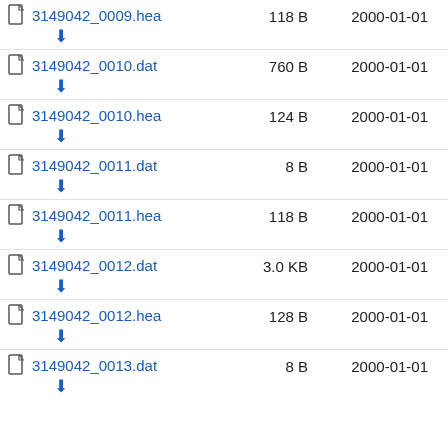3149042_0009.hea  118 B  2000-01-01
3149042_0010.dat  760 B  2000-01-01
3149042_0010.hea  124 B  2000-01-01
3149042_0011.dat  8 B  2000-01-01
3149042_0011.hea  118 B  2000-01-01
3149042_0012.dat  3.0 KB  2000-01-01
3149042_0012.hea  128 B  2000-01-01
3149042_0013.dat  8 B  2000-01-01